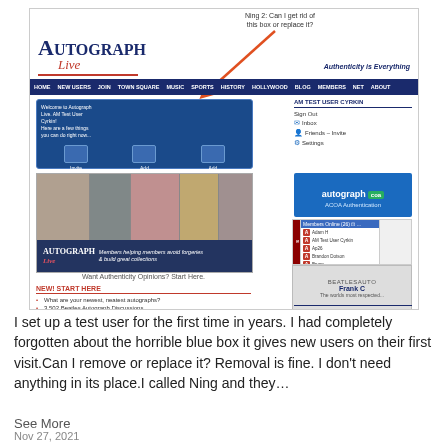[Figure (screenshot): Screenshot of Autograph Live website showing navigation bar, welcome box for new users with blue background, image strip of autographed memorabilia, right panel with user info, autographcoa ad, history box, Beatles autograph box. An orange arrow points from a 'Ning 2: Can I get rid of this box or replace it?' label down to the blue welcome box.]
I set up a test user for the first time in years. I had completely forgotten about the horrible blue box it gives new users on their first visit.Can I remove or replace it? Removal is fine. I don't need anything in its place.I called Ning and they…
See More
Nov 27, 2021